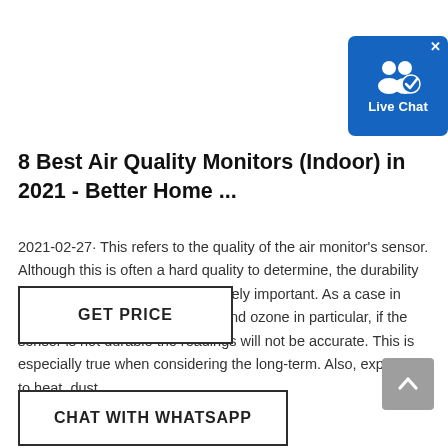[Figure (other): Live Chat widget button with blue background, person/chat icon, and 'Live Chat' label. Has an X close button in the top-right corner.]
8 Best Air Quality Monitors (Indoor) in 2021 - Better Home ...
2021-02-27· This refers to the quality of the air monitor's sensor. Although this is often a hard quality to determine, the durability of an air quality monitor is extremely important. As a case in point, when measuring gasses, and ozone in particular, if the sensor is not durable the readings will not be accurate. This is especially true when considering the long-term. Also, exposure to heat, dust ...
[Figure (other): GET PRICE button with black border outline]
[Figure (other): Scroll to top button (grey rounded square with upward chevron arrow)]
[Figure (other): CHAT WITH WHATSAPP button with black border outline]